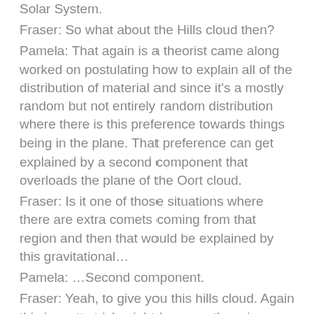Solar System.
Fraser: So what about the Hills cloud then?
Pamela: That again is a theorist came along worked on postulating how to explain all of the distribution of material and since it's a mostly random but not entirely random distribution where there is this preference towards things being in the plane. That preference can get explained by a second component that overloads the plane of the Oort cloud.
Fraser: Is it one of those situations where there are extra comets coming from that region and then that would be explained by this gravitational…
Pamela: …Second component.
Fraser: Yeah, to give you this hills cloud. Again this is pretty tricky right because there is no observable evidence for this cloud at all.
Pamela: The way to think of it is if you're getting sprayed with water you know there is going to be either a cloud or a hose involved. Depending on how